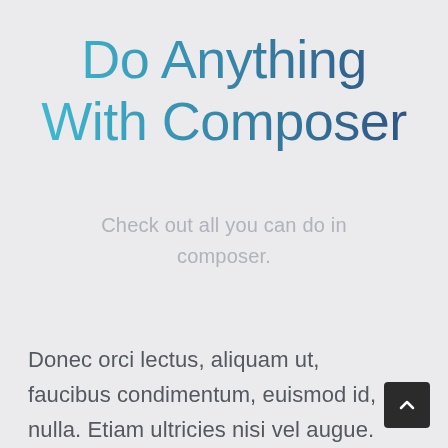Do Anything With Composer
Check out all you can do in composer.
Donec orci lectus, aliquam ut, faucibus condimentum, euismod id, nulla. Etiam ultricies nisi vel augue.